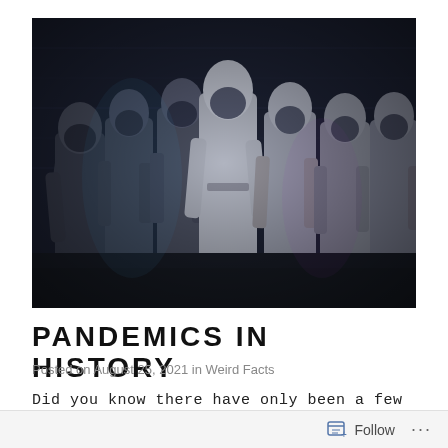[Figure (photo): Black and white historical photograph of seven people wearing full protective gear including long gowns/coats, hoods, and face masks, standing in a row against a brick wall background. The image has a dark, desaturated tone with slight blue tones.]
PANDEMICS IN HISTORY
Posted on August 25, 2021 in Weird Facts
Did you know there have only been a few actual
Follow ...